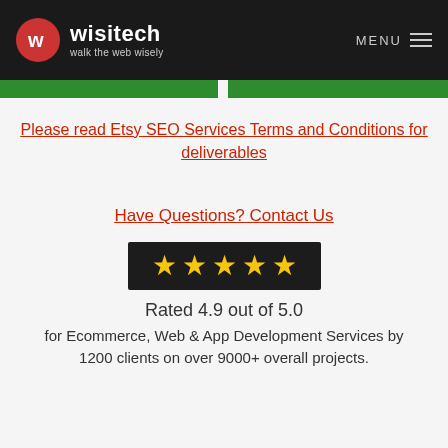wisitech — walk the web wisely — MENU
[Figure (other): Two green button bars side by side]
Please read Etsy SEO Services Terms and Conditions for deliverables
Have Questions? Contact Us
[Figure (other): Five gold stars on dark background rating widget]
Rated 4.9 out of 5.0
for Ecommerce, Web & App Development Services by 1200 clients on over 9000+ overall projects.